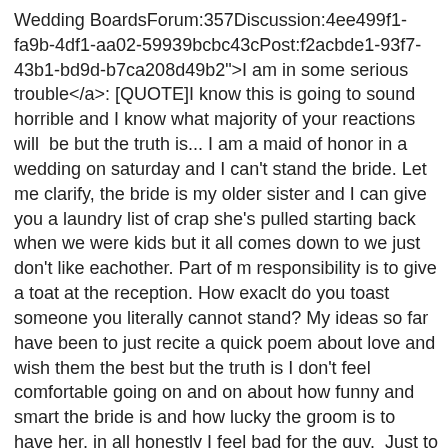Wedding BoardsForum:357Discussion:4ee499f1-fa9b-4df1-aa02-59939bcbc43cPost:f2acbde1-93f7-43b1-bd9d-b7ca208d49b2">I am in some serious trouble</a>: [QUOTE]I know this is going to sound horrible and I know what majority of your reactions will  be but the truth is... I am a maid of honor in a wedding on saturday and I can't stand the bride. Let me clarify, the bride is my older sister and I can give you a laundry list of crap she's pulled starting back when we were kids but it all comes down to we just don't like eachother. Part of m responsibility is to give a toat at the reception. How exaclt do you toast someone you literally cannot stand? My ideas so far  have been to just recite a quick poem about love and wish them the best but the truth is I don't feel comfortable going on and on about how funny and smart the bride is and how lucky the groom is to have her, in all honestly I feel bad for the guy.  Just to put it out there I know that with the my reaction when I called...